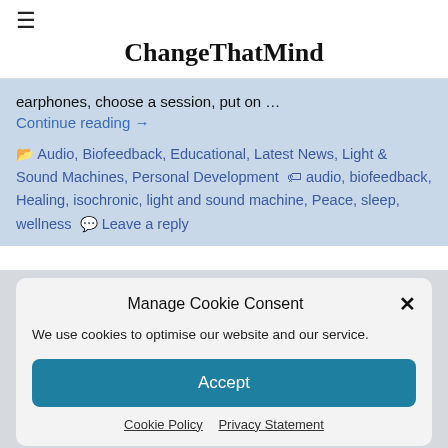☰
ChangeThatMind
earphones, choose a session, put on …
Continue reading →
🗂 Audio, Biofeedback, Educational, Latest News, Light & Sound Machines, Personal Development 🏷 audio, biofeedback, Healing, isochronic, light and sound machine, Peace, sleep, wellness 💬 Leave a reply
Manage Cookie Consent
We use cookies to optimise our website and our service.
Accept
Cookie Policy   Privacy Statement